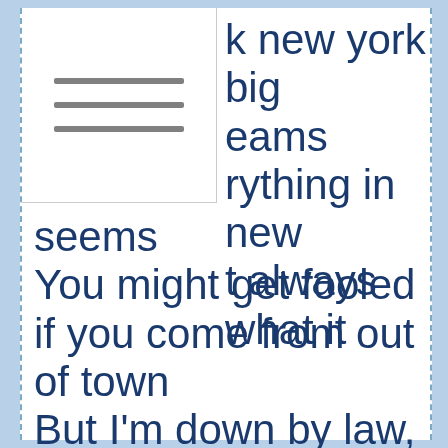[Figure (illustration): Hamburger menu icon with three horizontal gray lines]
k new york big eams rything in new t always what it seems You might get fooled if you come from out of town But I'm down by law, and I'm from the dogg pound